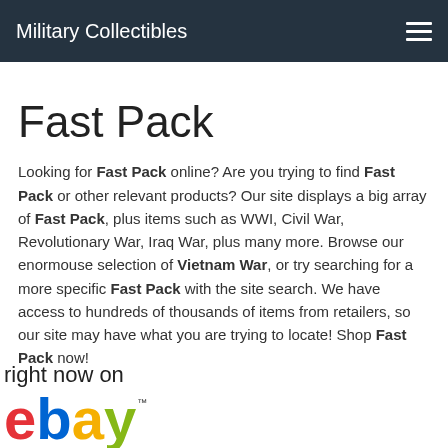Military Collectibles
Fast Pack
Looking for Fast Pack online? Are you trying to find Fast Pack or other relevant products? Our site displays a big array of Fast Pack, plus items such as WWI, Civil War, Revolutionary War, Iraq War, plus many more. Browse our enormouse selection of Vietnam War, or try searching for a more specific Fast Pack with the site search. We have access to hundreds of thousands of items from retailers, so our site may have what you are trying to locate! Shop Fast Pack now!
[Figure (logo): eBay logo with 'right now on' text above it]